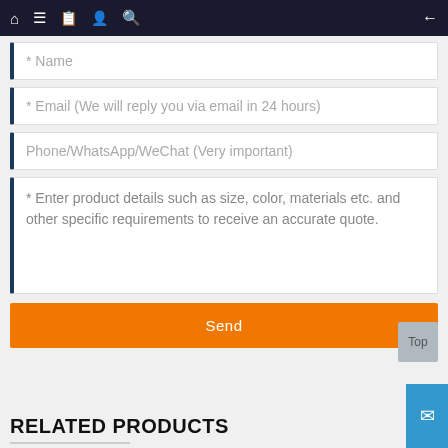Navigation bar with home, menu, card, profile, search icons and back arrow
* Name
* Email (We will reply you via email in 24 hours)
Phone/WhatsApp/WeChat (Very important)
* Enter product details such as size, color, materials etc. and other specific requirements to receive an accurate quote.
Send
Top
RELATED PRODUCTS